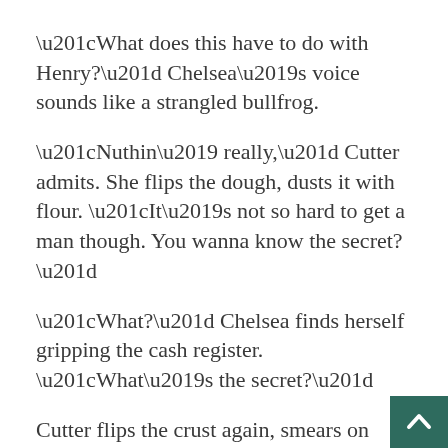“What does this have to do with Henry?”  Chelsea’s voice sounds like a strangled bullfrog.
“Nuthin’ really,” Cutter admits.  She flips the dough, dusts it with flour.  “It’s not so hard to get a man though.  You wanna know the secret?”
“What?” Chelsea finds herself gripping the cash register.  “What’s the secret?”
Cutter flips the crust again, smears on tomato paste.  “Just show ‘im your tits,” she says sagely.  She sighs as she sprinkles cheese.  “Don’t work once you get to be my age though.  Then they just run away faster.”
Chelsea has nightmares that night.
She’s switched jobs with Cutter, but she doesn’t know how to work the fryer.  She wants to deep fry a